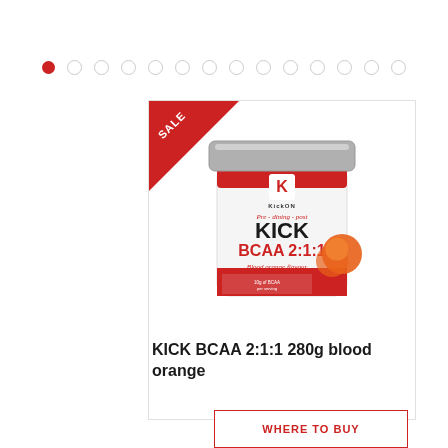[Figure (other): Carousel pagination dots — one filled red dot followed by 13 empty circle dots]
[Figure (photo): KickOn KICK BCAA 2:1:1 280g blood orange flavour supplement tub with red sale banner triangle in top-left corner]
KICK BCAA 2:1:1 280g blood orange
WHERE TO BUY